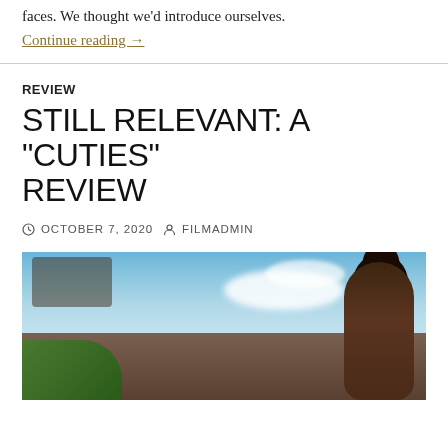faces. We thought we'd introduce ourselves.
Continue reading →
REVIEW
STILL RELEVANT: A “CUTIES” REVIEW
OCTOBER 7, 2020   FILMADMIN
[Figure (photo): Outdoor photo showing a young Black girl with hair in a bun, with blue sky and clouds in background, other figures partially visible]